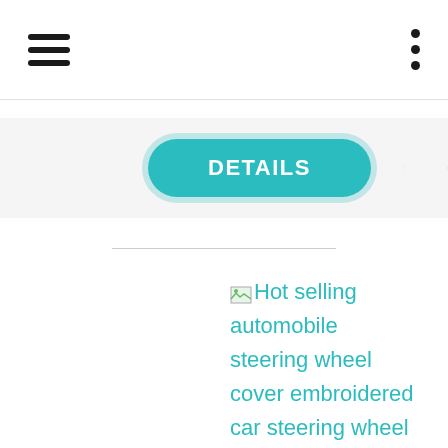[Figure (screenshot): Mobile app navigation bar with hamburger menu icon on the left and vertical three-dot menu on the right]
[Figure (screenshot): DETAILS tab button (teal/turquoise pill-shaped button), heart icon, and copy icon in a light gray tab row]
Hot selling automobile steering wheel cover embroidered car steering wheel covers